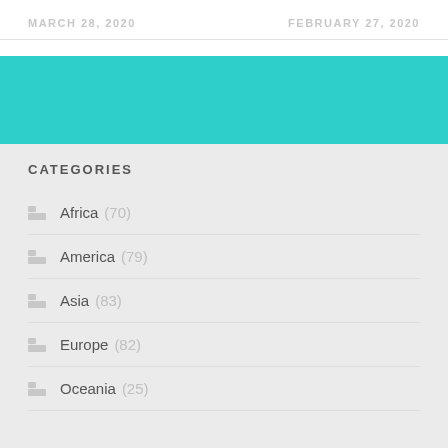MARCH 28, 2020   FEBRUARY 27, 2020
[Figure (other): Teal/turquoise colored banner block]
CATEGORIES
Africa (70)
America (79)
Asia (83)
Europe (82)
Oceania (25)